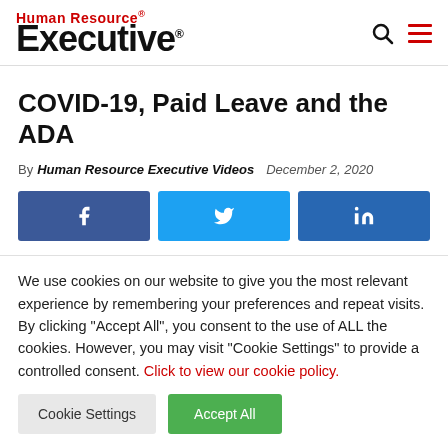Human Resource Executive
COVID-19, Paid Leave and the ADA
By Human Resource Executive Videos   December 2, 2020
[Figure (infographic): Three social sharing buttons: Facebook (blue), Twitter (light blue), LinkedIn (dark blue)]
We use cookies on our website to give you the most relevant experience by remembering your preferences and repeat visits. By clicking "Accept All", you consent to the use of ALL the cookies. However, you may visit "Cookie Settings" to provide a controlled consent. Click to view our cookie policy.
Cookie Settings   Accept All